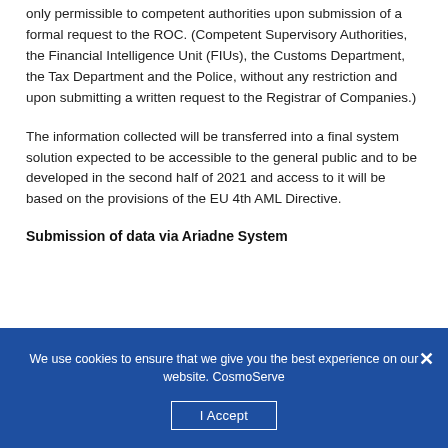only permissible to competent authorities upon submission of a formal request to the ROC. (Competent Supervisory Authorities, the Financial Intelligence Unit (FIUs), the Customs Department, the Tax Department and the Police, without any restriction and upon submitting a written request to the Registrar of Companies.)
The information collected will be transferred into a final system solution expected to be accessible to the general public and to be developed in the second half of 2021 and access to it will be based on the provisions of the EU 4th AML Directive.
Submission of data via Ariadne System
We use cookies to ensure that we give you the best experience on our website. CosmoServe
I Accept